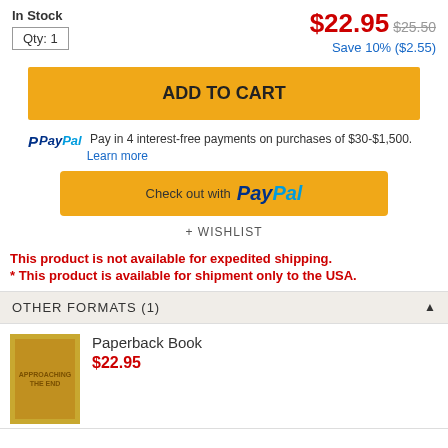In Stock
Qty: 1
$22.95  $25.50  Save 10% ($2.55)
ADD TO CART
PayPal  Pay in 4 interest-free payments on purchases of $30-$1,500. Learn more
[Figure (other): PayPal checkout button with yellow background and PayPal logo]
+ WISHLIST
This product is not available for expedited shipping.
* This product is available for shipment only to the USA.
OTHER FORMATS (1)
Paperback Book  $22.95